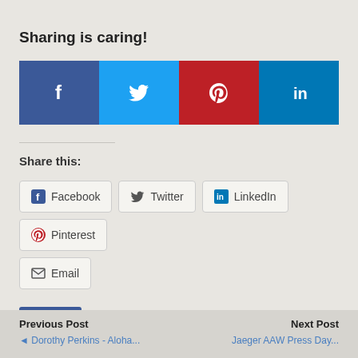Sharing is caring!
[Figure (other): Social share buttons row: Facebook (dark blue), Twitter (light blue), Pinterest (red), LinkedIn (blue)]
Share this:
Facebook  Twitter  LinkedIn  Pinterest  Email
[Figure (other): Facebook Like button widget with Sign Up link and text 'to see what your friends like.']
Previous Post  Dorothy Perkins - Aloha ... | Next Post  Jaeger AAW Press Day ...